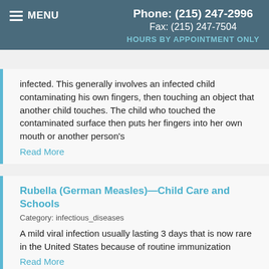MENU  Phone: (215) 247-2996  Fax: (215) 247-7504  HOURS BY APPOINTMENT ONLY
infected. This generally involves an infected child contaminating his own fingers, then touching an object that another child touches. The child who touched the contaminated surface then puts her fingers into her own mouth or another person's
Read More
Rubella (German Measles)—Child Care and Schools
Category: infectious_diseases
A mild viral infection usually lasting 3 days that is now rare in the United States because of routine immunization
Read More
Salmonella—Child Care and Schools